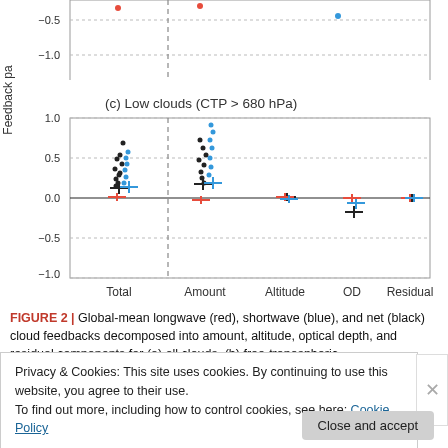[Figure (scatter-plot): Scatter plot showing global-mean longwave (red), shortwave (blue), and net (black) cloud feedbacks for low clouds (CTP > 680 hPa), decomposed into total, amount, altitude, OD, and residual components. Y-axis ranges from -1.0 to 1.0. Dashed vertical line between Total and Amount columns.]
FIGURE 2 | Global-mean longwave (red), shortwave (blue), and net (black) cloud feedbacks decomposed into amount, altitude, optical depth, and residual components for (a) all clouds, (b) free-tropospheric
Privacy & Cookies: This site uses cookies. By continuing to use this website, you agree to their use.
To find out more, including how to control cookies, see here: Cookie Policy